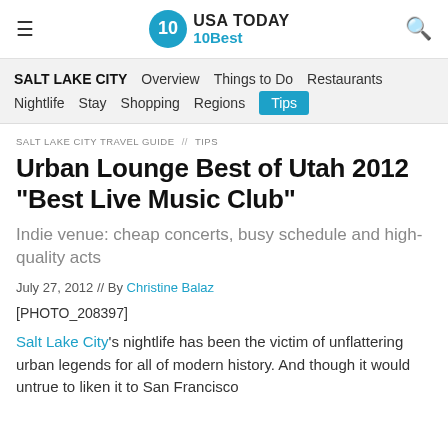USA TODAY 10Best — navigation header with hamburger menu, logo, and search icon
SALT LAKE CITY | Overview | Things to Do | Restaurants | Nightlife | Stay | Shopping | Regions | Tips
SALT LAKE CITY TRAVEL GUIDE // TIPS
Urban Lounge Best of Utah 2012 "Best Live Music Club"
Indie venue: cheap concerts, busy schedule and high-quality acts
July 27, 2012 // By Christine Balaz
[PHOTO_208397]
Salt Lake City's nightlife has been the victim of unflattering urban legends for all of modern history. And though it would untrue to liken it to San Francisco